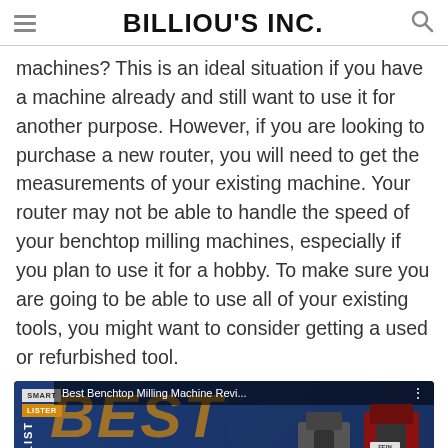BILLIOU'S INC.
machines? This is an ideal situation if you have a machine already and still want to use it for another purpose. However, if you are looking to purchase a new router, you will need to get the measurements of your existing machine. Your router may not be able to handle the speed of your benchtop milling machines, especially if you plan to use it for a hobby. To make sure you are going to be able to use all of your existing tools, you might want to consider getting a used or refurbished tool.
[Figure (screenshot): YouTube video thumbnail for 'Best Benchtop Milling Machine Revi...' showing milling machines on a dark blue background with 'BEST BENCHTOP MILLING MACHINE' text and a play button]